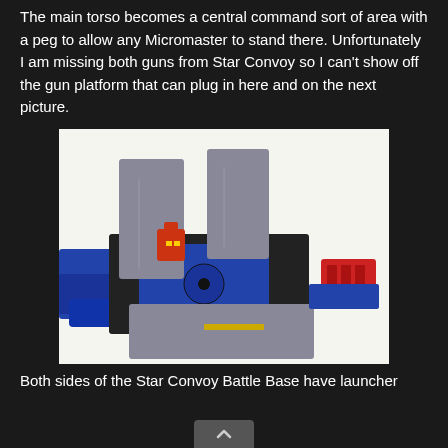The main torso becomes a central command sort of area with a peg to allow any Micromaster to stand there. Unfortunately I am missing both guns from Star Convoy so I can't show off the gun platform that can plug in here and on the next picture.
[Figure (photo): Photo of a Transformers Star Convoy toy in battle base mode, showing gray ramp/platform sections, blue and black central body with a small Micromaster figure in red and yellow, blue side wings, and a red block on the right side, set against a white background.]
Both sides of the Star Convoy Battle Base have launcher